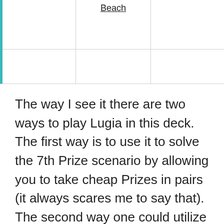|  | Beach |  |
|  |  |  |
The way I see it there are two ways to play Lugia in this deck. The first way is to use it to solve the 7th Prize scenario by allowing you to take cheap Prizes in pairs (it always scares me to say that). The second way one could utilize Lugia EX is to use it to finish off EXs that have been hit by a Keldeo-EX.